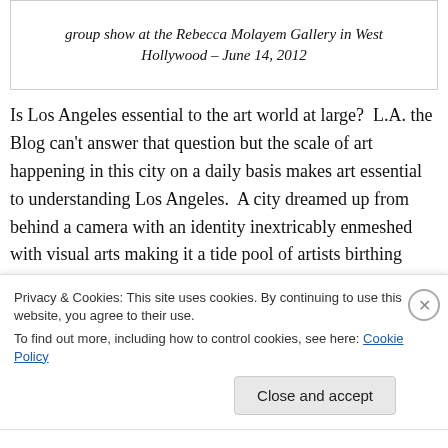group show at the Rebecca Molayem Gallery in West Hollywood – June 14, 2012
Is Los Angeles essential to the art world at large?  L.A. the Blog can't answer that question but the scale of art happening in this city on a daily basis makes art essential to understanding Los Angeles.  A city dreamed up from behind a camera with an identity inextricably enmeshed with visual arts making it a tide pool of artists birthing pictures, stories, scenes, music, canvases, books, tunes, compositions, scripts...
Privacy & Cookies: This site uses cookies. By continuing to use this website, you agree to their use. To find out more, including how to control cookies, see here: Cookie Policy